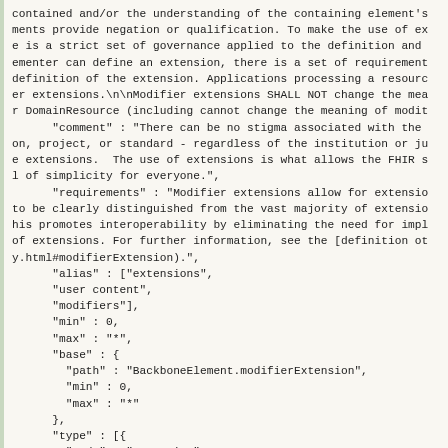contained and/or the understanding of the containing element's ments provide negation or qualification. To make the use of ex e is a strict set of governance applied to the definition and ementer can define an extension, there is a set of requirement definition of the extension. Applications processing a resourc er extensions.\n\nModifier extensions SHALL NOT change the mea r DomainResource (including cannot change the meaning of modit     "comment" : "There can be no stigma associated with the on, project, or standard - regardless of the institution or ju e extensions.  The use of extensions is what allows the FHIR s l of simplicity for everyone.",         "requirements" : "Modifier extensions allow for extensio to be clearly distinguished from the vast majority of extensio his promotes interoperability by eliminating the need for impl of extensions. For further information, see the [definition ot y.html#modifierExtension).",         "alias" : ["extensions",         "user content",         "modifiers"],         "min" : 0,         "max" : "*",         "base" : {           "path" : "BackboneElement.modifierExtension",           "min" : 0,           "max" : "*"         },         "type" : [{           "code" : "Extension"         }]